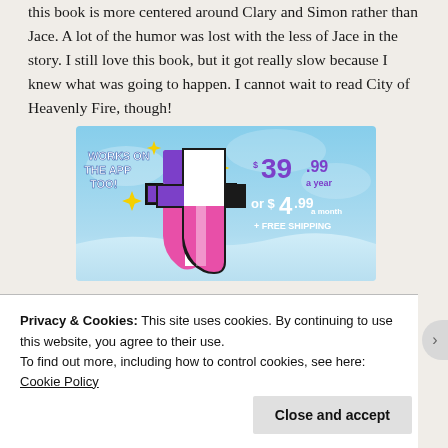this book is more centered around Clary and Simon rather than Jace. A lot of the humor was lost with the less of Jace in the story. I still love this book, but it got really slow because I knew what was going to happen. I cannot wait to read City of Heavenly Fire, though!
[Figure (illustration): Advertisement banner showing a stylized letter 't' logo (pink/purple/white) with yellow sparkle stars on a blue sky background. Text reads 'WORKS ON THE APP TOO!' on the left and '$39.99 a year or $4.99 a month + FREE SHIPPING' on the right in purple/white text.]
Privacy & Cookies: This site uses cookies. By continuing to use this website, you agree to their use.
To find out more, including how to control cookies, see here: Cookie Policy
Close and accept